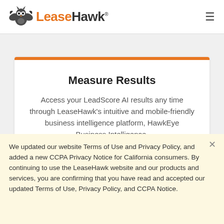LeaseHawk
Measure Results
Access your LeadScore AI results any time through LeaseHawk's intuitive and mobile-friendly business intelligence platform, HawkEye Business Intelligence.
We updated our website Terms of Use and Privacy Policy, and added a new CCPA Privacy Notice for California consumers. By continuing to use the LeaseHawk website and our products and services, you are confirming that you have read and accepted our updated Terms of Use, Privacy Policy, and CCPA Notice.